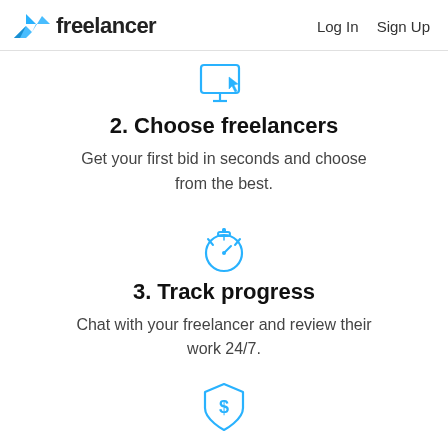freelancer  Log In  Sign Up
[Figure (illustration): Blue icon of a computer monitor with a cursor/arrow pointer]
2. Choose freelancers
Get your first bid in seconds and choose from the best.
[Figure (illustration): Blue stopwatch/timer icon]
3. Track progress
Chat with your freelancer and review their work 24/7.
[Figure (illustration): Blue shield icon with a dollar sign]